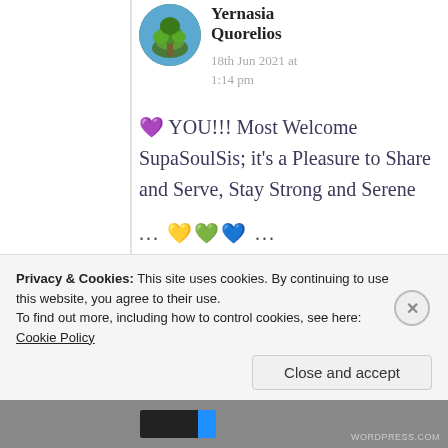Yernasia Quorelios
18th Jun 2021 at 1:14 pm
🤍 YOU!!! Most Welcome SupaSoulSis; it's a Pleasure to Share and Serve, Stay Strong and Serene
... 💛💚💙 ...
Privacy & Cookies: This site uses cookies. By continuing to use this website, you agree to their use.
To find out more, including how to control cookies, see here: Cookie Policy
Close and accept